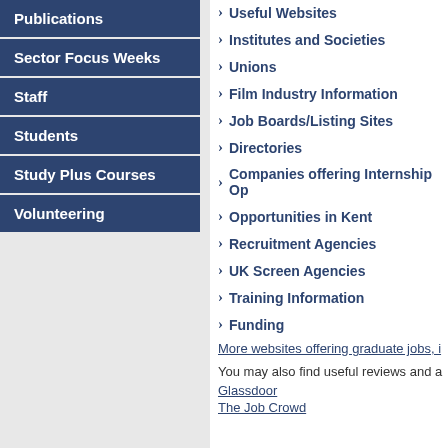Publications
Sector Focus Weeks
Staff
Students
Study Plus Courses
Volunteering
Useful Websites
Institutes and Societies
Unions
Film Industry Information
Job Boards/Listing Sites
Directories
Companies offering Internship Op
Opportunities in Kent
Recruitment Agencies
UK Screen Agencies
Training Information
Funding
More websites offering graduate jobs, i
You may also find useful reviews and a
Glassdoor
The Job Crowd